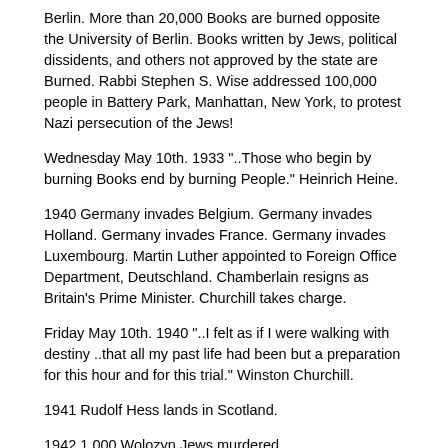Berlin. More than 20,000 Books are burned opposite the University of Berlin. Books written by Jews, political dissidents, and others not approved by the state are Burned. Rabbi Stephen S. Wise addressed 100,000 people in Battery Park, Manhattan, New York, to protest Nazi persecution of the Jews!
Wednesday May 10th. 1933 "..Those who begin by burning Books end by burning People." Heinrich Heine.
1940 Germany invades Belgium. Germany invades Holland. Germany invades France. Germany invades Luxembourg. Martin Luther appointed to Foreign Office Department, Deutschland. Chamberlain resigns as Britain's Prime Minister. Churchill takes charge.
Friday May 10th. 1940 "..I felt as if I were walking with destiny ..that all my past life had been but a preparation for this hour and for this trial." Winston Churchill.
1941 Rudolf Hess lands in Scotland.
1942 1,000 Wolozyn Jews murdered.
1964 The Treblinka Monument is unveiled.
May 11th.
1943 Over 1,400 Dutch Jews to Auschwitz and Sobibor. Shmuel Zygielboim commits suicide.